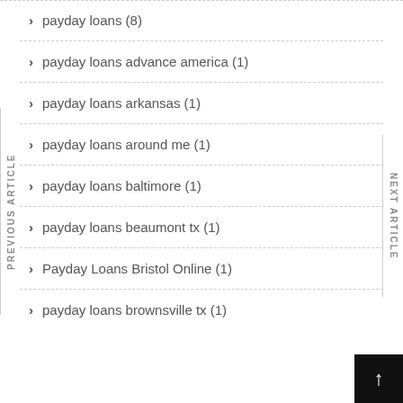payday loans (8)
payday loans advance america (1)
payday loans arkansas (1)
payday loans around me (1)
payday loans baltimore (1)
payday loans beaumont tx (1)
Payday Loans Bristol Online (1)
payday loans brownsville tx (1)